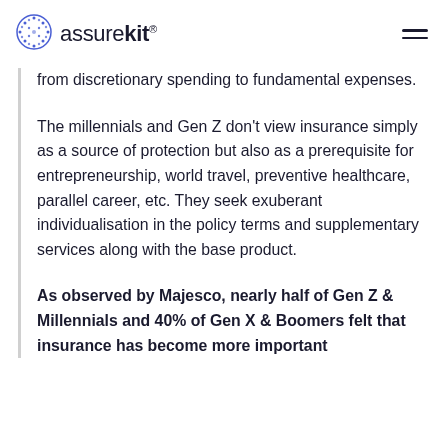assurekit®
from discretionary spending to fundamental expenses.
The millennials and Gen Z don't view insurance simply as a source of protection but also as a prerequisite for entrepreneurship, world travel, preventive healthcare, parallel career, etc. They seek exuberant individualisation in the policy terms and supplementary services along with the base product.
As observed by Majesco, nearly half of Gen Z & Millennials and 40% of Gen X & Boomers felt that insurance has become more important